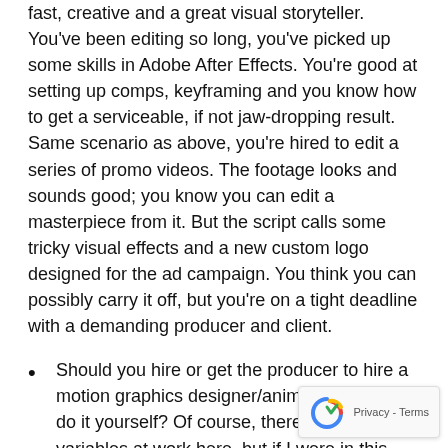fast, creative and a great visual storyteller. You've been editing so long, you've picked up some skills in Adobe After Effects. You're good at setting up comps, keyframing and you know how to get a serviceable, if not jaw-dropping result. Same scenario as above, you're hired to edit a series of promo videos. The footage looks and sounds good; you know you can edit a masterpiece from it. But the script calls some tricky visual effects and a new custom logo designed for the ad campaign. You think you can possibly carry it off, but you're on a tight deadline with a demanding producer and client.
Should you hire or get the producer to hire a motion graphics designer/animator or try to do it yourself? Of course, there are a lot of variables at work here, but if I were in this position, I'd seriously consider hiring a motion graphics designer or having the producer do so.
Designing a new logo from scratch, and a really great inspired logo at that, can be a very time-consuming task,